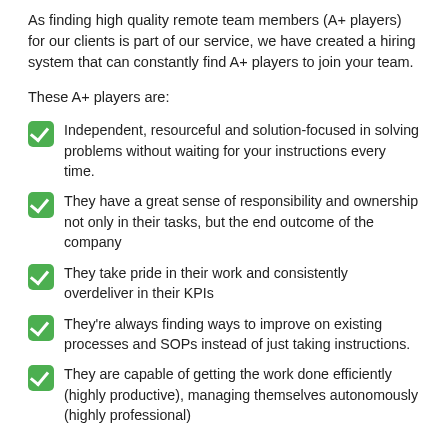(A+ players) for our clients is part of our service, we have created a hiring system that can constantly find A+ players to join your team.
These A+ players are:
Independent, resourceful and solution-focused in solving problems without waiting for your instructions every time.
They have a great sense of responsibility and ownership not only in their tasks, but the end outcome of the company
They take pride in their work and consistently overdeliver in their KPIs
They're always finding ways to improve on existing processes and SOPs instead of just taking instructions.
They are capable of getting the work done efficiently (highly productive), managing themselves autonomously (highly professional)